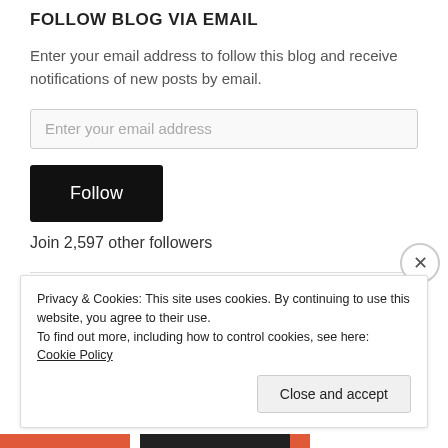FOLLOW BLOG VIA EMAIL
Enter your email address to follow this blog and receive notifications of new posts by email.
Enter your email address
Follow
Join 2,597 other followers
Privacy & Cookies: This site uses cookies. By continuing to use this website, you agree to their use.
To find out more, including how to control cookies, see here: Cookie Policy
Close and accept